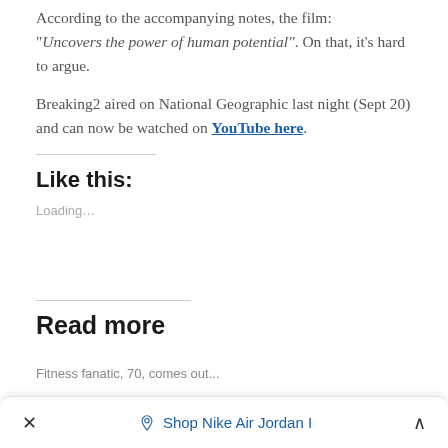According to the accompanying notes, the film: "Uncovers the power of human potential". On that, it's hard to argue.
Breaking2 aired on National Geographic last night (Sept 20) and can now be watched on YouTube here.
Like this:
Loading...
Read more
Fitness fanatic, 70, comes out…
× ◇ Shop Nike Air Jordan I ∧